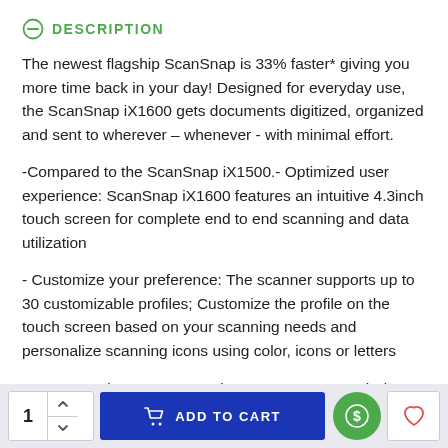DESCRIPTION
The newest flagship ScanSnap is 33% faster* giving you more time back in your day! Designed for everyday use, the ScanSnap iX1600 gets documents digitized, organized and sent to wherever – whenever - with minimal effort.
-Compared to the ScanSnap iX1500.- Optimized user experience: ScanSnap iX1600 features an intuitive 4.3inch touch screen for complete end to end scanning and data utilization
- Customize your preference: The scanner supports up to 30 customizable profiles; Customize the profile on the touch screen based on your scanning needs and personalize scanning icons using color, icons or letters
- Scan anywhere you want whenever you want: Wi-Fi